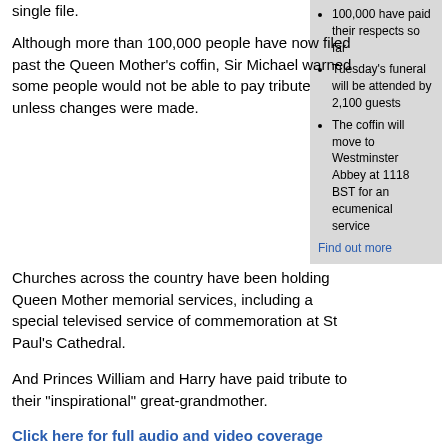single file.
100,000 have paid their respects so far
Tuesday's funeral will be attended by 2,100 guests
The coffin will move to Westminster Abbey at 1118 BST for an ecumenical service
Find out more
Although more than 100,000 people have now filed past the Queen Mother's coffin, Sir Michael warned some people would not be able to pay tribute unless changes were made.
Churches across the country have been holding Queen Mother memorial services, including a special televised service of commemoration at St Paul's Cathedral.
And Princes William and Harry have paid tribute to their "inspirational" great-grandmother.
Click here for full audio and video coverage
In an interview they praised her irreverent, youthful sense of humour, recalling a time she mimicked TV comic character Ali G and his catchphrase "Respec".
The St Paul's service was "a celebration as well as a commemoration" of the Queen Mother, with her favourite hymns being sung.
The Bishop of London, the Right Reverend Richard Chartres, praised the "zest for life" of the Queen Mother.